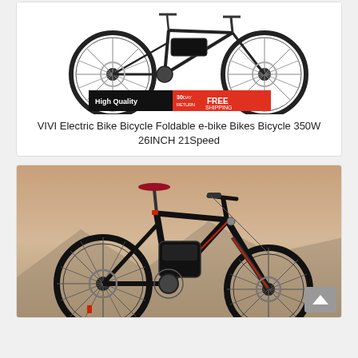[Figure (photo): VIVI electric bicycle product photo showing a foldable e-bike with 26 inch wheels, black color with orange accents, white background, and a red/black 'High Quality 30-day return FREE SHIPPING' banner overlay at the bottom]
VIVI Electric Bike Bicycle Foldable e-bike Bikes Bicycle 350W 26INCH 21Speed
[Figure (photo): Black electric mountain bike product photo against a mountain/sunset background, showing a sleek black frame with red accents, large battery pack integrated into frame, disc brakes, and wide tires]